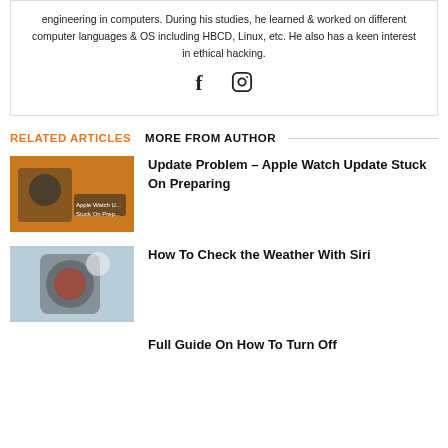engineering in computers. During his studies, he learned & worked on different computer languages & OS including HBCD, Linux, etc. He also has a keen interest in ethical hacking.
[Figure (illustration): Social media icons: Facebook (f) and Instagram (camera in circle)]
RELATED ARTICLES   MORE FROM AUTHOR
[Figure (photo): Apple Watch update thumbnail on orange background with text 'Apple Watch Update Stuck On Pre...']
Update Problem – Apple Watch Update Stuck On Preparing
[Figure (photo): Smartphone on table showing circular interface, weather check with Siri thumbnail]
How To Check the Weather With Siri
Full Guide On How To Turn Off